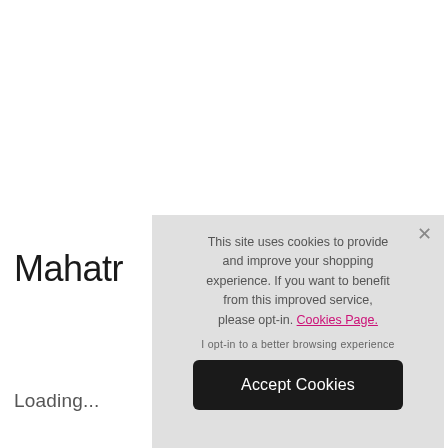Mahatr
Loading...
This site uses cookies to provide and improve your shopping experience. If you want to benefit from this improved service, please opt-in. Cookies Page.
I opt-in to a better browsing experience
Accept Cookies